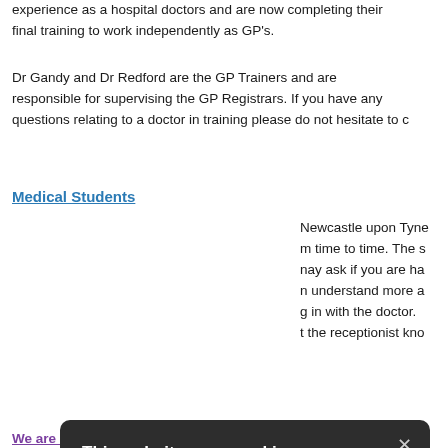experience as a hospital doctors and are now completing their final training to work independently as GP's.
Dr Gandy and Dr Redford are the GP Trainers and are responsible for supervising the GP Registrars. If you have any questions relating to a doctor in training please do not hesitate to c
Medical Students
Newcastle upon Tyne m time to time. The s nay ask if you are ha n understand more a g in with the doctor. t the receptionist kno
[Figure (screenshot): Cookie consent modal dialog on dark background with title 'This website uses cookies', body text about cookie usage, a link 'read more about our cookies', checkboxes for STRICTLY NECESSARY (checked), PERFORMANCE, TARGETING, FUNCTIONALITY, and two buttons: ACCEPT ALL and DECLINE ALL.]
ideo consultations as nd are destroyed at nsent and you can a
We are here at the